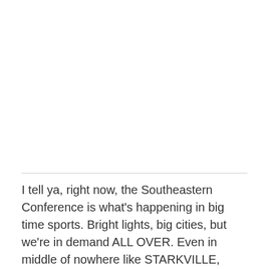I tell ya, right now, the Southeastern Conference is what's happening in big time sports. Bright lights, big cities, but we're in demand ALL OVER. Even in middle of nowhere like STARKVILLE, MISSISSIPPI.